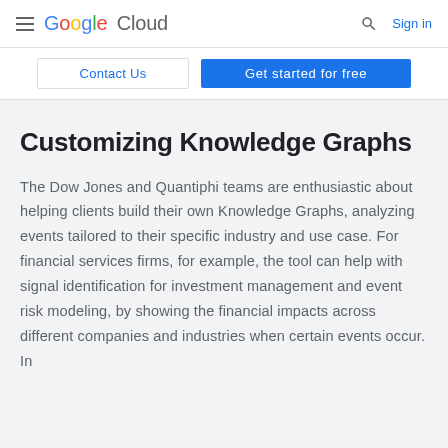Google Cloud — Sign in
Contact Us | Get started for free
Customizing Knowledge Graphs
The Dow Jones and Quantiphi teams are enthusiastic about helping clients build their own Knowledge Graphs, analyzing events tailored to their specific industry and use case. For financial services firms, for example, the tool can help with signal identification for investment management and event risk modeling, by showing the financial impacts across different companies and industries when certain events occur. In